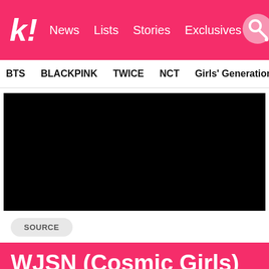K! News Lists Stories Exclusives
BTS BLACKPINK TWICE NCT Girls' Generation aespa
[Figure (other): Black video embed area]
SOURCE
WJSN (Cosmic Girls)
8 Times K-Pop Fans Have Gotten Into Physical Fights